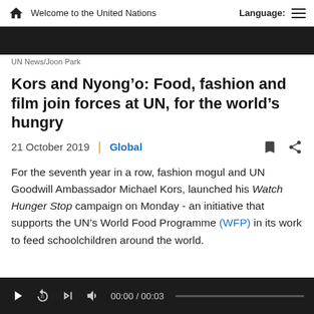Welcome to the United Nations   Language:
UN News/Joon Park
Kors and Nyong'o: Food, fashion and film join forces at UN, for the world's hungry
21 October 2019 | Global
For the seventh year in a row, fashion mogul and UN Goodwill Ambassador Michael Kors, launched his Watch Hunger Stop campaign on Monday - an initiative that supports the UN's World Food Programme (WFP) in its work to feed schoolchildren around the world.